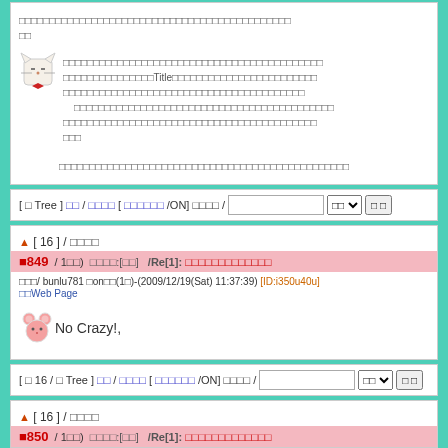Japanese forum post content with cat avatar and Japanese text including Title reference
Japanese forum post content continuation
Toolbar: [ □ Tree ] Japanese links [Japanese/ON] Japanese/ input select button
▲[ 16 ] / Japanese
■849 / 1回) Japanese:[回] /Re[1]: Japanese text
□回/ bunlu781 回or回(1回)-(2009/12/19(Sat) 11:37:39) [ID:i350u40u] 回Web Page
No Crazy!,
Toolbar: [ 回 16 / □ Tree ] Japanese/Japanese [Japanese/ON] Japanese/ input select button
▲[ 16 ] / Japanese
■850 / 1回) Japanese:[回] /Re[1]: Japanese text